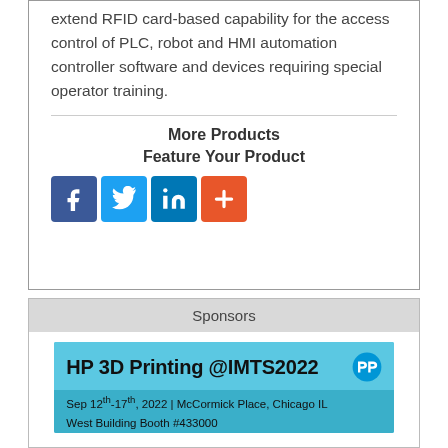extend RFID card-based capability for the access control of PLC, robot and HMI automation controller software and devices requiring special operator training.
More Products
Feature Your Product
[Figure (infographic): Social media icons: Facebook (blue), Twitter (light blue), LinkedIn (blue), plus/share (orange-red)]
Sponsors
[Figure (infographic): HP 3D Printing @IMTS2022 advertisement banner in teal/blue. Sep 12th-17th, 2022 | McCormick Place, Chicago IL. West Building Booth #433000. Shows 3D printed metal parts at bottom.]